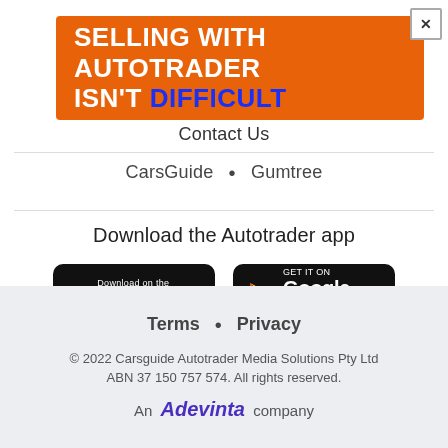[Figure (infographic): Orange advertisement banner reading 'SELLING WITH AUTOTRADER ISN'T DIFFICULT' with 'DIFFICULT' in blue text]
Contact Us
CarsGuide • Gumtree
Download the Autotrader app
[Figure (illustration): Apple App Store download button - black rounded rectangle with Apple logo and 'Download on the App Store' text]
[Figure (illustration): Google Play store download button - black rounded rectangle with Google Play logo and 'GET IT ON Google Play' text]
Terms • Privacy
© 2022 Carsguide Autotrader Media Solutions Pty Ltd ABN 37 150 757 574. All rights reserved.
An Adevinta company